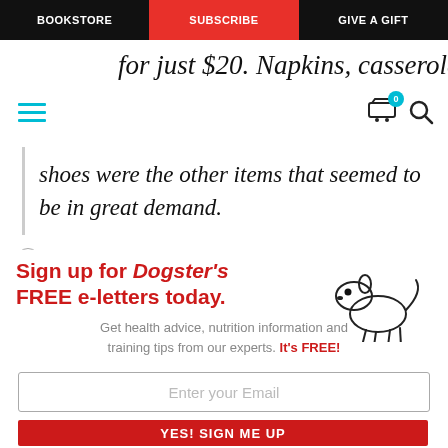BOOKSTORE | SUBSCRIBE | GIVE A GIFT
for just $20. Napkins, casseroles
shoes were the other items that seemed to be in great demand.
Sign up for Dogster's FREE e-letters today.
Get health advice, nutrition information and training tips from our experts. It's FREE!
Enter your Email
YES! SIGN ME UP